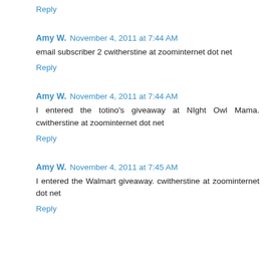Reply
Amy W.  November 4, 2011 at 7:44 AM
email subscriber 2 cwitherstine at zoominternet dot net
Reply
Amy W.  November 4, 2011 at 7:44 AM
I entered the totino's giveaway at NIght Owl Mama. cwitherstine at zoominternet dot net
Reply
Amy W.  November 4, 2011 at 7:45 AM
I entered the Walmart giveaway. cwitherstine at zoominternet dot net
Reply